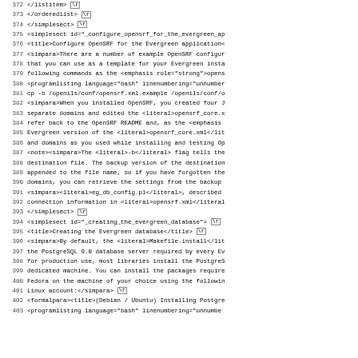Source code / XML listing lines 372-403 of Evergreen documentation
372  </listitem>\r
373  </orderedlist>\r
374  </simplesect>\r
375  <simplesect id="_configure_opensrf_for_the_evergreen_ap
376  <title>Configure OpenSRF for the Evergreen application<
377  <simpara>There are a number of example OpenSRF configur
378  that you can use as a template for your Evergreen insta
379  following commands as the <emphasis role="strong">opens
380  <programlisting language="bash" linenumbering="unnumber
381  cp -b /openils/conf/opensrf.xml.example /openils/conf/o
382  <simpara>When you installed OpenSRF, you created four J
383  separate domains and edited the <literal>opensrf_core.x
384  refer back to the OpenSRF README and, as the <emphasis
385  Evergreen version of the <literal>opensrf_core.xml</lit
386  and domains as you used while installing and testing Op
387  <note><simpara>The <literal>-b</literal> flag tells the
388  destination file. The backup version of the destination
389  appended to the file name, so if you have forgotten the
390  domains, you can retrieve the settings from the backup
391  <simpara><literal>eg_db_config.pl</literal>, described
392  connection information in <literal>opensrf.xml</literal
393  </simplesect>\r
394  <simplesect id="_creating_the_evergreen_database">\r
395  <title>Creating the Evergreen database</title>\r
396  <simpara>By default, the <literal>Makefile.install</lit
397  the PostgreSQL 9.0 database server required by every Ev
398  for production use, most libraries install the PostgreS
399  dedicated machine. You can install the packages require
400  Fedora on the machine of your choice using the followin
401  Linux account:</simpara>\r
402  <formalpara><title>(Debian / Ubuntu) Installing Postgre
403  <programlisting language="bash" linenumbering="unnumbe